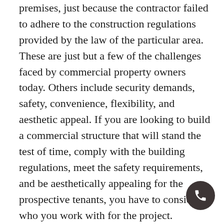premises, just because the contractor failed to adhere to the construction regulations provided by the law of the particular area. These are just but a few of the challenges faced by commercial property owners today. Others include security demands, safety, convenience, flexibility, and aesthetic appeal. If you are looking to build a commercial structure that will stand the test of time, comply with the building regulations, meet the safety requirements, and be aesthetically appealing for the prospective tenants, you have to consider who you work with for the project. Construction Company in Bayville NY

The design, planning, coordination, and construction work management quality will be
[Figure (other): Dark circular phone/call button icon in bottom-right corner]